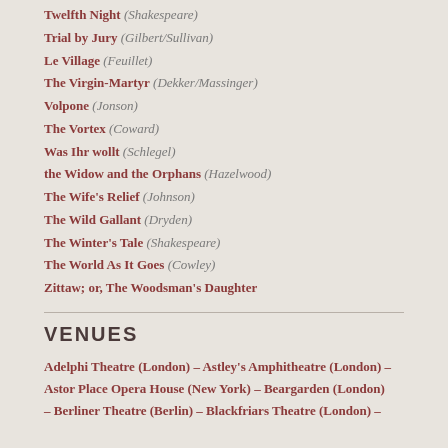Twelfth Night (Shakespeare)
Trial by Jury (Gilbert/Sullivan)
Le Village (Feuillet)
The Virgin-Martyr (Dekker/Massinger)
Volpone (Jonson)
The Vortex (Coward)
Was Ihr wollt (Schlegel)
the Widow and the Orphans (Hazelwood)
The Wife's Relief (Johnson)
The Wild Gallant (Dryden)
The Winter's Tale (Shakespeare)
The World As It Goes (Cowley)
Zittaw; or, The Woodsman's Daughter
VENUES
Adelphi Theatre (London) – Astley's Amphitheatre (London) – Astor Place Opera House (New York) – Beargarden (London) – Berliner Theatre (Berlin) – Blackfriars Theatre (London) –